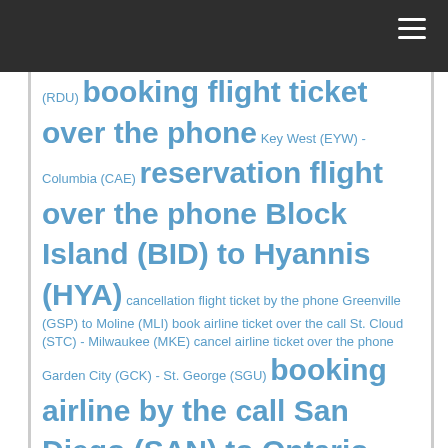(RDU) booking flight ticket over the phone Key West (EYW) - Columbia (CAE) reservation flight over the phone Block Island (BID) to Hyannis (HYA) cancellation flight ticket by the phone Greenville (GSP) to Moline (MLI) book airline ticket over the call St. Cloud (STC) - Milwaukee (MKE) cancel airline ticket over the phone Garden City (GCK) - St. George (SGU) booking airline by the call San Diego (SAN) to Ontario (ONT) change flight by the call Palm Springs (PSP) - Columbus (CMH) order ticket flight over the call Laredo (LRD) to St. Augustine (SGJ) booking